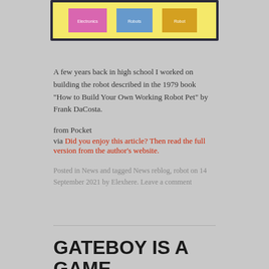[Figure (illustration): Partial screenshot of a book or UI with colorful labeled boxes on a yellow background with dark border. Three colored rectangles visible: pink labeled 'Electronics', blue labeled 'Robots', yellow labeled 'Robot'.]
A few years back in high school I worked on building the robot described in the 1979 book “How to Build Your Own Working Robot Pet” by Frank DaCosta.
from Pocket
via Did you enjoy this article? Then read the full version from the author’s website.
Posted in News and tagged News reblog, robot on 14 September 2021 by Elexhere. Leave a comment
GATEBOY IS A GAME